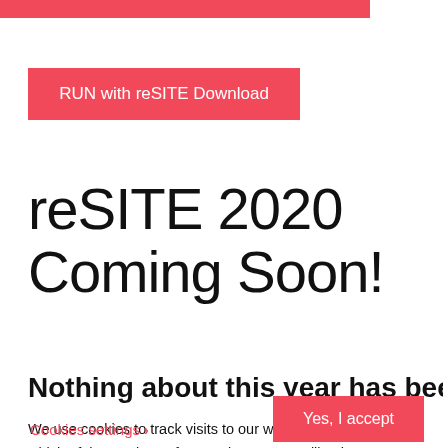[Figure (other): Red/pink horizontal bar at the top of the page, partial navigation element]
RUN with reSITE Download
reSITE 2020 Coming Soon!
Nothing about this year has been normal. But we
We use cookies to track visits to our website and analyze which of the sections of our main menu you like the most. You should check 'em all. We store no personal details.
Cookies settings >
Yes, I accept